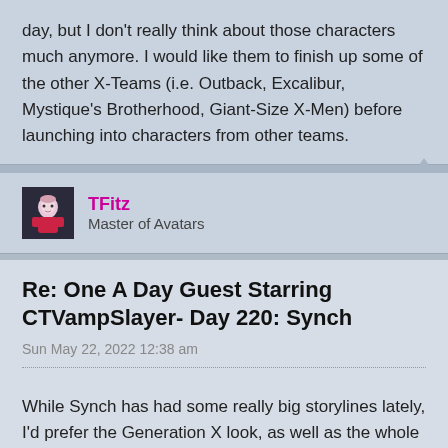day, but I don't really think about those characters much anymore. I would like them to finish up some of the other X-Teams (i.e. Outback, Excalibur, Mystique's Brotherhood, Giant-Size X-Men) before launching into characters from other teams.
[Figure (illustration): Forum user avatar for TFitz - small illustrated character image]
TFitz
Master of Avatars
Re: One A Day Guest Starring CTVampSlayer- Day 220: Synch
Sun May 22, 2022 12:38 am
While Synch has had some really big storylines lately, I'd prefer the Generation X look, as well as the whole team.